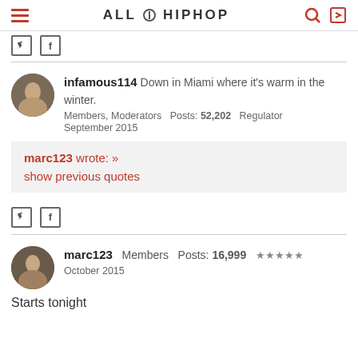ALL HIP HOP
infamous114   Down in Miami where it's warm in the winter.
Members, Moderators   Posts: 52,202   Regulator
September 2015
marc123 wrote: »
show previous quotes
marc123   Members   Posts: 16,999   ★★★★★
October 2015
Starts tonight